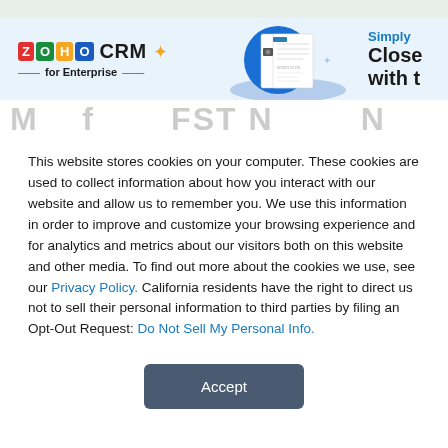[Figure (screenshot): Zoho CRM for Enterprise banner advertisement showing logo, a book/document image, and text 'Simply Close with t...']
This website stores cookies on your computer. These cookies are used to collect information about how you interact with our website and allow us to remember you. We use this information in order to improve and customize your browsing experience and for analytics and metrics about our visitors both on this website and other media. To find out more about the cookies we use, see our Privacy Policy. California residents have the right to direct us not to sell their personal information to third parties by filing an Opt-Out Request: Do Not Sell My Personal Info.
Accept